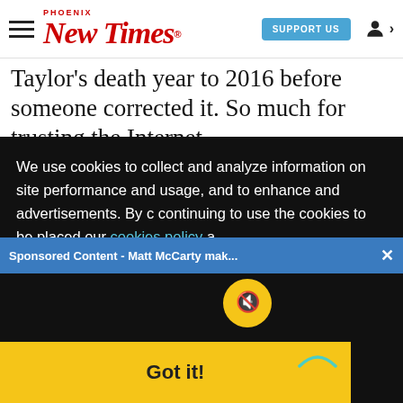Phoenix New Times | SUPPORT US
Taylor's death year to 2016 before someone corrected it. So much for trusting the Internet.
We use cookies to collect and analyze information on site performance and usage, and to enhance and ... 's the advertisements. By c... continuing to use the ... cookies to be placed ... our cookies policy a...
Sponsored Content - Matt McCarty mak...
Got it!